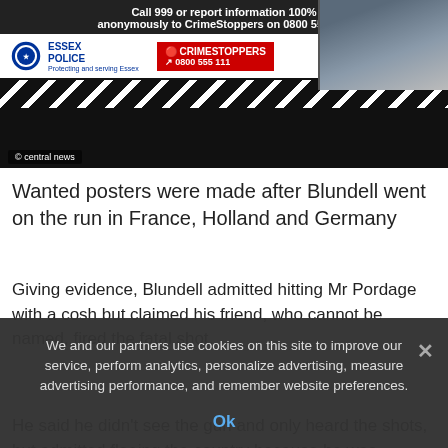[Figure (screenshot): Screenshot of a news article page showing an Essex Police wanted poster with CrimeStoppers branding, call 999 text, chevron bar, and a person visible at the right. A 'central news' watermark appears at bottom left of image.]
Wanted posters were made after Blundell went on the run in France, Holland and Germany
Giving evidence, Blundell admitted hitting Mr Pordage with a cosh but claimed his friend, who cannot be named, fired the fatal shot.
He said he didn't see the gun and only heard the shots, but admitted fleeing the country because he was 'terrified'.
Colgate had initially denied lying in her police interview to help
We and our partners use cookies on this site to improve our service, perform analytics, personalize advertising, measure advertising performance, and remember website preferences.